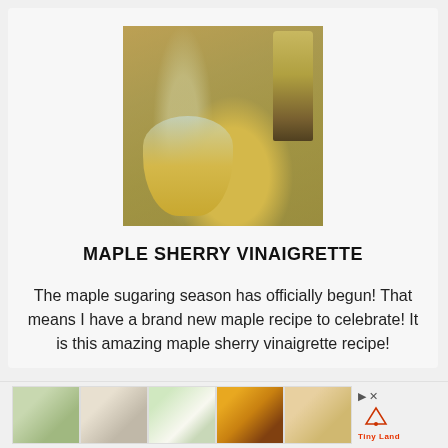[Figure (photo): Photo of maple sherry vinaigrette in a glass carafe with a bottle of vinegar and rustic keys on burlap background]
MAPLE SHERRY VINAIGRETTE
The maple sugaring season has officially begun! That means I have a brand new maple recipe to celebrate! It is this amazing maple sherry vinaigrette recipe!
[Figure (infographic): Advertisement bar showing five thumbnail images of crafts/decorations and a Tiny Land logo with play and close icons]